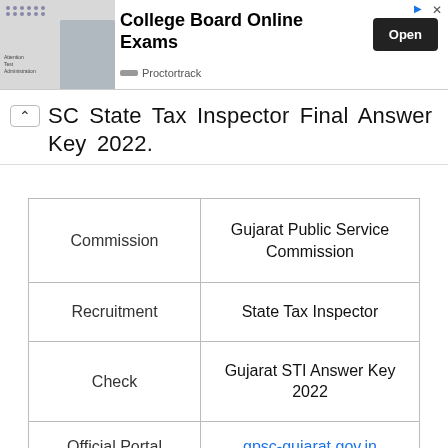[Figure (other): Advertisement banner for College Board Online Exams by Proctortrack with an Open button]
SC State Tax Inspector Final Answer Key 2022.
| Commission | Gujarat Public Service Commission |
| Recruitment | State Tax Inspector |
| Check | Gujarat STI Answer Key 2022 |
| Official Portal | gpsc-gujarat.gov.in |